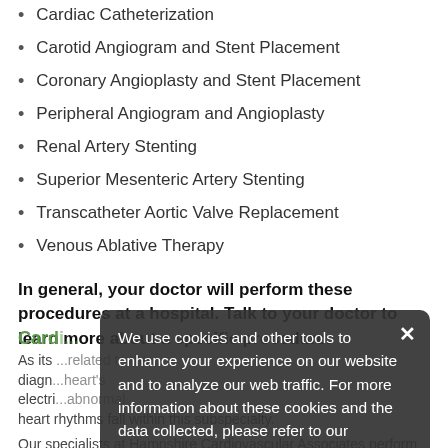Cardiac Catheterization
Carotid Angiogram and Stent Placement
Coronary Angioplasty and Stent Placement
Peripheral Angiogram and Angioplasty
Renal Artery Stenting
Superior Mesenteric Artery Stenting
Transcatheter Aortic Valve Replacement
Venous Ablative Therapy
In general, your doctor will perform these procedures at a hospital. Talk to your doctor to learn more about a specific procedure.
Cardi...
As its ... to the diagn... heart's electri... abnormal heart rhythms fall within this subspecialty.
Our specialists at Hampshire Cardiovascular Associates perform the following electrophysiology procedures:
We use cookies and other tools to enhance your experience on our website and to analyze our web traffic. For more information about these cookies and the data collected, please refer to our Privacy Policy.